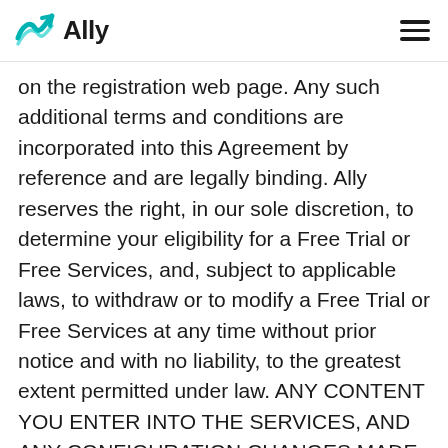Ally
on the registration web page. Any such additional terms and conditions are incorporated into this Agreement by reference and are legally binding. Ally reserves the right, in our sole discretion, to determine your eligibility for a Free Trial or Free Services, and, subject to applicable laws, to withdraw or to modify a Free Trial or Free Services at any time without prior notice and with no liability, to the greatest extent permitted under law. ANY CONTENT YOU ENTER INTO THE SERVICES, AND ANY CONFIGURATION CHANGES MADE TO THE SERVICES BY OR FOR YOU, DURING YOUR FREE TRIAL WILL BE PERMANENTLY LOST UNLESS, WITHIN 90 DAYS AFTER THE END OF YOUR FREE TRIAL PERIOD, YOU SUBSCRIBE TO